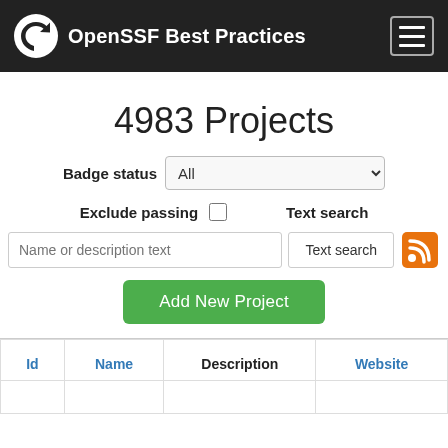OpenSSF Best Practices
4983 Projects
Badge status  All
Exclude passing  Text search
Name or description text  Text search
Add New Project
| Id | Name | Description | Website |
| --- | --- | --- | --- |
|  |